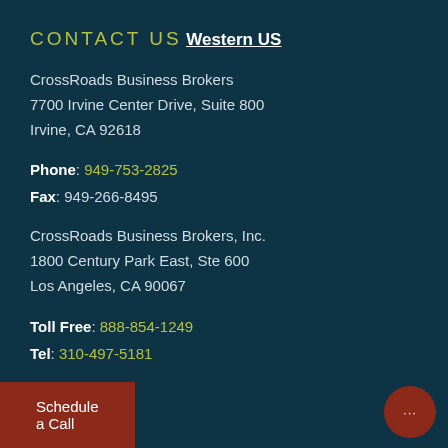CONTACT US
Western US
CrossRoads Business Brokers
7700 Irvine Center Drive, Suite 800
Irvine, CA 92618
Phone: 949-753-2825
Fax: 949-266-8495
CrossRoads Business Brokers, Inc.
1800 Century Park East, Ste 600
Los Angeles, CA 90067
Toll Free: 888-854-1249
Tel: 310-497-5181
Schedule a Call